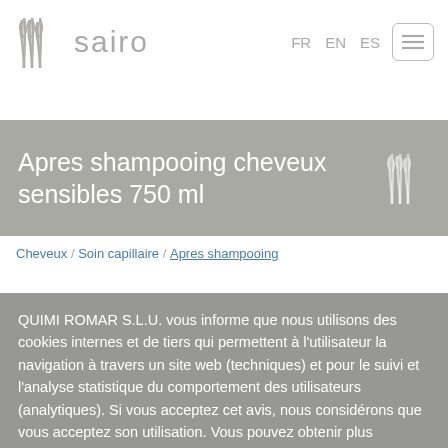sairo — FR EN ES navigation
Apres shampooing cheveux sensibles 750 ml
Cheveux / Soin capillaire / Apres shampooing
QUIMI ROMAR S.L.U. vous informe que nous utilisons des cookies internes et de tiers qui permettent à l'utilisateur la navigation à travers un site web (techniques) et pour le suivi et l'analyse statistique du comportement des utilisateurs (analytiques). Si vous acceptez cet avis, nous considérons que vous acceptez son utilisation. Vous pouvez obtenir plus d'informations ou bien savoir comment changer la configuration dans notre Politique de cookies. Lire plus
Paramètres des cookies
Accepter tous